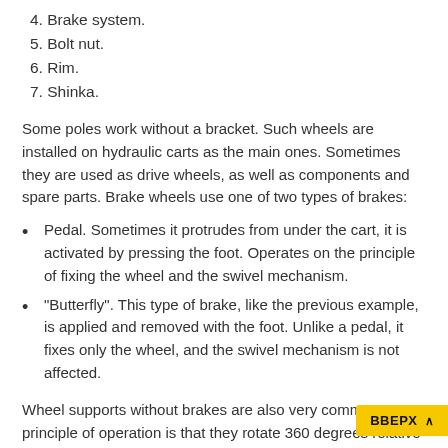4. Brake system.
5. Bolt nut.
6. Rim.
7. Shinka.
Some poles work without a bracket. Such wheels are installed on hydraulic carts as the main ones. Sometimes they are used as drive wheels, as well as components and spare parts. Brake wheels use one of two types of brakes:
Pedal. Sometimes it protrudes from under the cart, it is activated by pressing the foot. Operates on the principle of fixing the wheel and the swivel mechanism.
"Butterfly". This type of brake, like the previous example, is applied and removed with the foot. Unlike a pedal, it fixes only the wheel, and the swivel mechanism is not affected.
Wheel supports without brakes are also very common... principle of operation is that they rotate 360 degrees relative